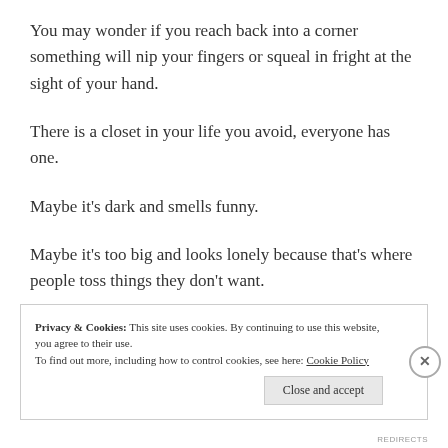You may wonder if you reach back into a corner something will nip your fingers or squeal in fright at the sight of your hand.
There is a closet in your life you avoid, everyone has one.
Maybe it's dark and smells funny.
Maybe it's too big and looks lonely because that's where people toss things they don't want.
Privacy & Cookies: This site uses cookies. By continuing to use this website, you agree to their use. To find out more, including how to control cookies, see here: Cookie Policy
Close and accept
REDIRECTS